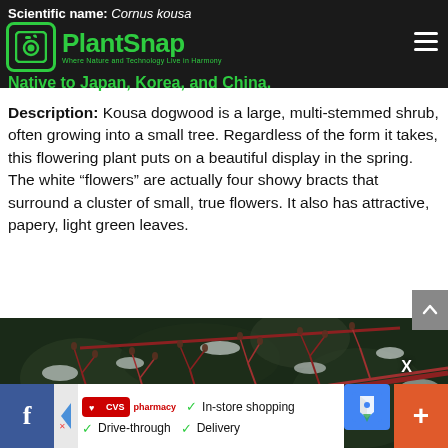Scientific name: Cornus kousa
[Figure (logo): PlantSnap logo with green camera icon and tagline 'Where Nature and Technology Live in Harmony']
Native to Japan, Korea, and China.
Description: Kousa dogwood is a large, multi-stemmed shrub, often growing into a small tree. Regardless of the form it takes, this flowering plant puts on a beautiful display in the spring. The white “flowers” are actually four showy bracts that surround a cluster of small, true flowers. It also has attractive, papery, light green leaves.
[Figure (photo): Close-up photograph of red/pink bare winter branches of Cornus kousa (Kousa dogwood) with snow-covered background]
[Figure (screenshot): Advertisement bar at bottom showing Facebook icon, CVS Pharmacy ad with In-store shopping, Drive-through, Delivery options, Google Maps icon, and a plus button]